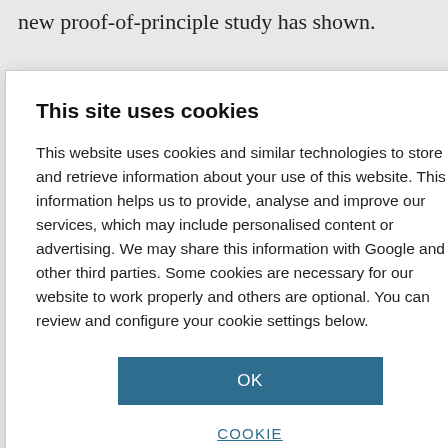new proof-of-principle study has shown.
e is part of a
s come about as a
ost of sequencing.
e widely used in
her diseases in
argeted,
ents.

encing to assess
commonly exist
harmful
56 blood and
en going through
s, during which
This site uses cookies

This website uses cookies and similar technologies to store and retrieve information about your use of this website. This information helps us to provide, analyse and improve our services, which may include personalised content or advertising. We may share this information with Google and other third parties. Some cookies are necessary for our website to work properly and others are optional. You can review and configure your cookie settings below.

OK

COOKIE SETTINGS